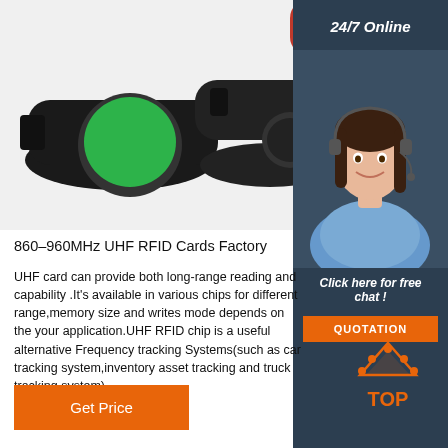[Figure (photo): Close-up photo of RFID wristbands in black with green, red, and dark colored button discs on white background]
[Figure (photo): Customer service agent (woman with headset) for 24/7 online support, displayed in dark sidebar]
24/7 Online
Click here for free chat !
QUOTATION
860–960MHz UHF RFID Cards Factory
UHF card can provide both long-range reading and capability .It's available in various chips for different range,memory size and writes mode depends on the your application.UHF RFID chip is a useful alternative Frequency tracking Systems(such as car tracking system,inventory asset tracking and truck tracking system).
Get Price
[Figure (illustration): TOP arrow icon in orange with dots, indicating scroll-to-top button]